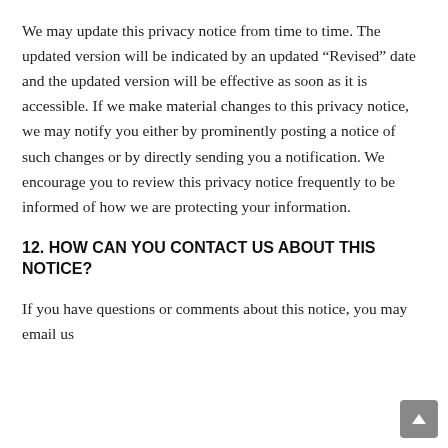We may update this privacy notice from time to time. The updated version will be indicated by an updated “Revised” date and the updated version will be effective as soon as it is accessible. If we make material changes to this privacy notice, we may notify you either by prominently posting a notice of such changes or by directly sending you a notification. We encourage you to review this privacy notice frequently to be informed of how we are protecting your information.
12. HOW CAN YOU CONTACT US ABOUT THIS NOTICE?
If you have questions or comments about this notice, you may email us